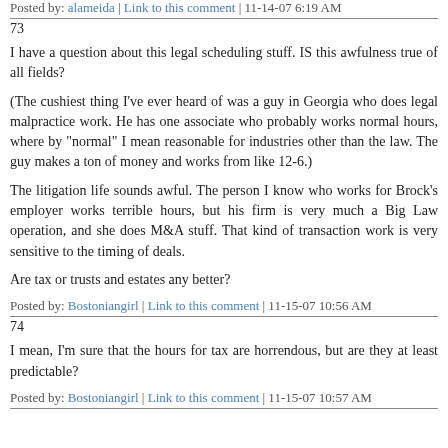Posted by: alameida | Link to this comment | 11-14-07 6:19 AM
73
I have a question about this legal scheduling stuff. IS this awfulness true of all fields?
(The cushiest thing I've ever heard of was a guy in Georgia who does legal malpractice work. He has one associate who probably works normal hours, where by "normal" I mean reasonable for industries other than the law. The guy makes a ton of money and works from like 12-6.)
The litigation life sounds awful. The person I know who works for Brock's employer works terrible hours, but his firm is very much a Big Law operation, and she does M&A stuff. That kind of transaction work is very sensitive to the timing of deals.
Are tax or trusts and estates any better?
Posted by: Bostoniangirl | Link to this comment | 11-15-07 10:56 AM
74
I mean, I'm sure that the hours for tax are horrendous, but are they at least predictable?
Posted by: Bostoniangirl | Link to this comment | 11-15-07 10:57 AM